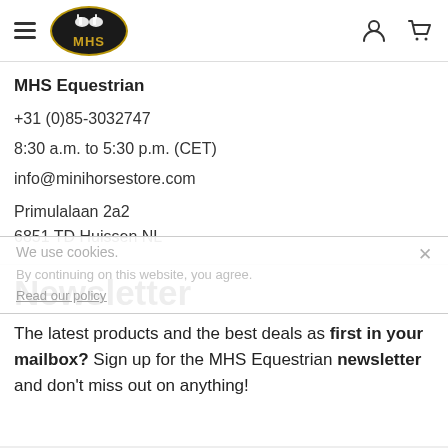[Figure (logo): MHS Equestrian logo - dark oval with golden border, white horse figures on top, MHS text in gold]
MHS Equestrian
+31 (0)85-3032747
8:30 a.m. to 5:30 p.m. (CET)
info@minihorsestore.com
Primulalaan 2a2
6851 TD Huissen NL
We use cookies.
By continuing on this website, you agree.
Read our policy
Newsletter
The latest products and the best deals as first in your mailbox? Sign up for the MHS Equestrian newsletter and don't miss out on anything!